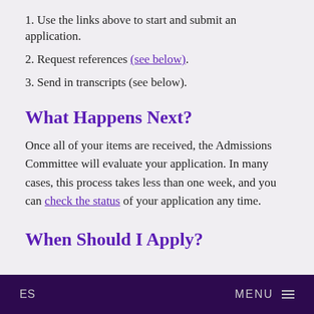1. Use the links above to start and submit an application.
2. Request references (see below).
3. Send in transcripts (see below).
What Happens Next?
Once all of your items are received, the Admissions Committee will evaluate your application. In many cases, this process takes less than one week, and you can check the status of your application any time.
When Should I Apply?
ES   MENU